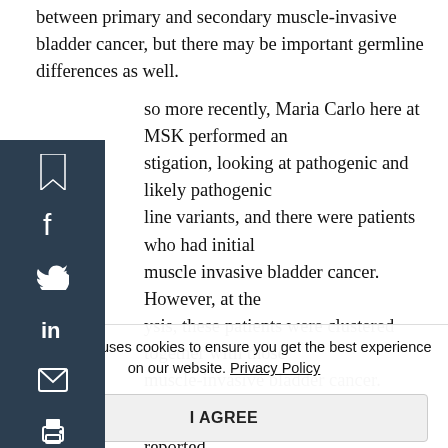between primary and secondary muscle-invasive bladder cancer, but there may be important germline differences as well.
And so more recently, Maria Carlo here at MSK performed an investigation, looking at pathogenic and likely pathogenic germline variants, and there were patients who had initial non-muscle invasive bladder cancer. However, at the analysis, these patients were clustered together with those with muscle-invasive bladder cancer.
Another group, from China, recently also reported, suggesting in their small cohort of patients, that patients with secondary muscle-invasive bladder cancer may actually have more pathogenic germline variants in DNA damage repair genes. The caveat being, that there wasn't any treatment detail about whether or not these patients
This website uses cookies to ensure you get the best experience on our website. Privacy Policy
I AGREE